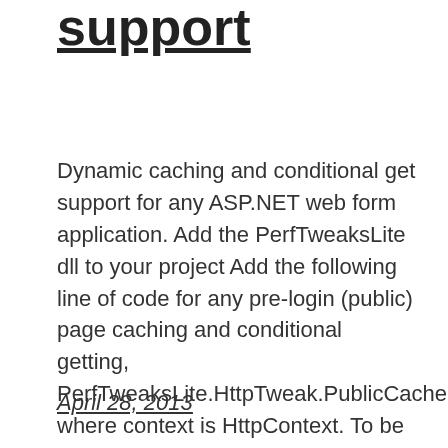support
Dynamic caching and conditional get support for any ASP.NET web form application. Add the PerfTweaksLite dll to your project Add the following line of code for any pre-login (public) page caching and conditional getting, PerfTweaksLite.HttpTweak.PublicCache(Context); where context is HttpContext. To be used on dynamic pages where the content doesn't vary on a per user basis. […]
April 28, 2013